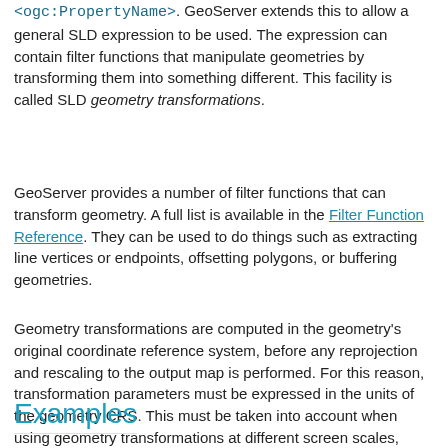<ogc:PropertyName>. GeoServer extends this to allow a general SLD expression to be used. The expression can contain filter functions that manipulate geometries by transforming them into something different. This facility is called SLD geometry transformations.
GeoServer provides a number of filter functions that can transform geometry. A full list is available in the Filter Function Reference. They can be used to do things such as extracting line vertices or endpoints, offsetting polygons, or buffering geometries.
Geometry transformations are computed in the geometry's original coordinate reference system, before any reprojection and rescaling to the output map is performed. For this reason, transformation parameters must be expressed in the units of the geometry CRS. This must be taken into account when using geometry transformations at different screen scales, since the parameters will not change with scale.
Examples